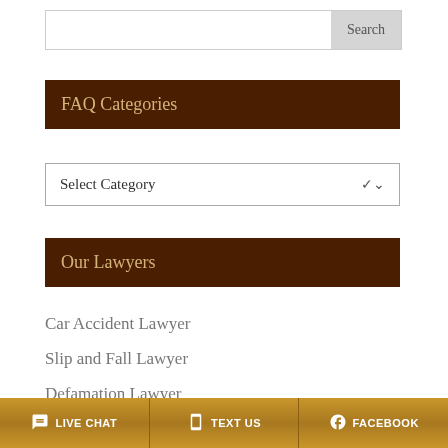Search
FAQ Categories
Select Category
Our Lawyers
Car Accident Lawyer
Slip and Fall Lawyer
Defamation Lawyer
LIVE CHAT   TEXT US   FACEBOOK